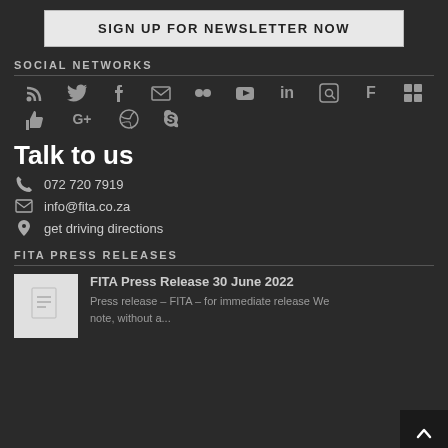SIGN UP FOR NEWSLETTER NOW
SOCIAL NETWORKS
[Figure (other): Social media icons: RSS, Twitter, Facebook, Email, Flickr, YouTube, LinkedIn, Pinterest, Foursquare, Windows, Thumbs Up, Google+, Dribbble, Skype]
Talk to us
072 720 7919
info@fita.co.za
get driving directions
FITA PRESS RELEASES
FITA Press Release 30 June 2022
Press release – FITA – for immediate release We note, without a...